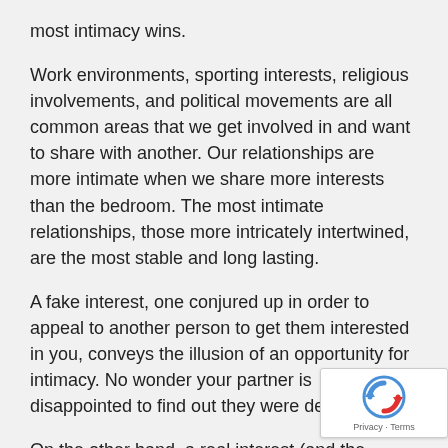most intimacy wins.
Work environments, sporting interests, religious involvements, and political movements are all common areas that we get involved in and want to share with another. Our relationships are more intimate when we share more interests than the bedroom. The most intimate relationships, those more intricately intertwined, are the most stable and long lasting.
A fake interest, one conjured up in order to appeal to another person to get them interested in you, conveys the illusion of an opportunity for intimacy. No wonder your partner is disappointed to find out they were deceived.
On the other hand, a real interest (and the resulting intimacy) can be developed.